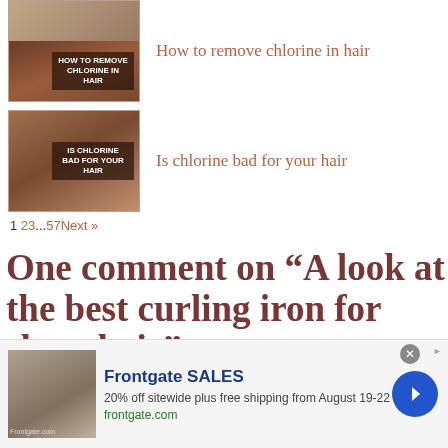[Figure (photo): Thumbnail image for article: How to remove chlorine in hair]
How to remove chlorine in hair
[Figure (photo): Thumbnail image for article: Is chlorine bad for your hair]
Is chlorine bad for your hair
1 23...57 Next »
One comment on “A look at the best curling iron for short hair”
[Figure (photo): Advertisement: Frontgate SALES - 20% off sitewide plus free shipping from August 19-22. frontgate.com]